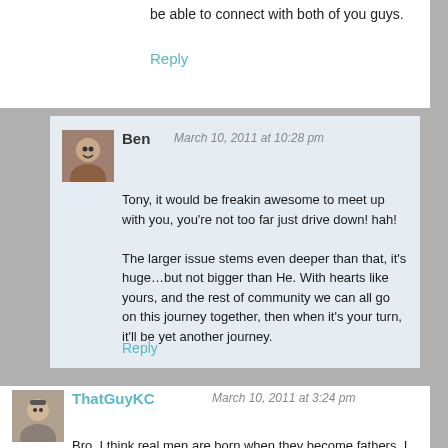be able to connect with both of you guys.
Reply
Ben  March 10, 2011 at 10:28 pm
Tony, it would be freakin awesome to meet up with you, you're not too far just drive down! hah!

The larger issue stems even deeper than that, it's huge…but not bigger than He. With hearts like yours, and the rest of community we can all go on this journey together, then when it's your turn, it'll be yet another journey.
Reply
ThatGuyKC  March 10, 2011 at 3:24 pm
Bro, I think real men are born when they become fathers. I can hardly put into words the fear and strength that simultaneously flowed through me when I held our daughter for the first time. I wasn't